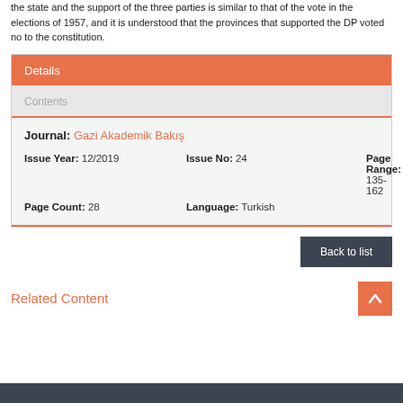the state and the support of the three parties is similar to that of the vote in the elections of 1957, and it is understood that the provinces that supported the DP voted no to the constitution.
Details
Contents
Journal: Gazi Akademik Bakış
| Field | Value |
| --- | --- |
| Issue Year: | 12/2019 |
| Issue No: | 24 |
| Page Range: | 135-162 |
| Page Count: | 28 |
| Language: | Turkish |
Back to list
Related Content